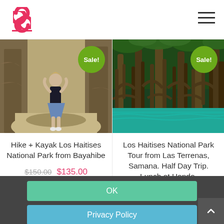[Figure (logo): Red/pink stylized 'S' logo with underline]
[Figure (photo): Photo of person walking in rocky canyon/river area, with green Sale! badge overlay]
Hike + Kayak Los Haitises National Park from Bayahibe
$150.00  $135.00
[Figure (photo): Photo of mangrove forest with turquoise water, with green Sale! badge overlay]
Los Haitises National Park Tour from Las Terrenas, Samana. Half Day Trip. Lunch at Hondo.
$82.99
OK
Privacy Policy